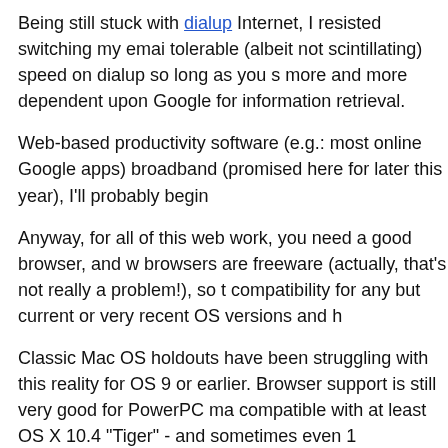Being still stuck with dialup Internet, I resisted switching my email tolerable (albeit not scintillating) speed on dialup so long as you s more and more dependent upon Google for information retrieval.
Web-based productivity software (e.g.: most online Google apps) broadband (promised here for later this year), I'll probably begin
Anyway, for all of this web work, you need a good browser, and w browsers are freeware (actually, that's not really a problem!), so t compatibility for any but current or very recent OS versions and h
Classic Mac OS holdouts have been struggling with this reality for OS 9 or earlier. Browser support is still very good for PowerPC ma compatible with at least OS X 10.4 "Tiger" - and sometimes even 1
However, support of older version of the Mac OS is not comprehe page views within a single browser window or tab and a plugin ar "Leopard".
Firefox Pros and Cons
More subtly, I've found that Firefox 3.x, which works great with m